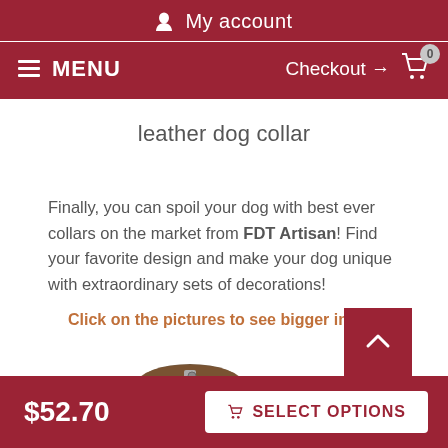My account
MENU  Checkout → 0
leather dog collar
Finally, you can spoil your dog with best ever collars on the market from FDT Artisan! Find your favorite design and make your dog unique with extraordinary sets of decorations!
Click on the pictures to see bigger image
$52.70
SELECT OPTIONS